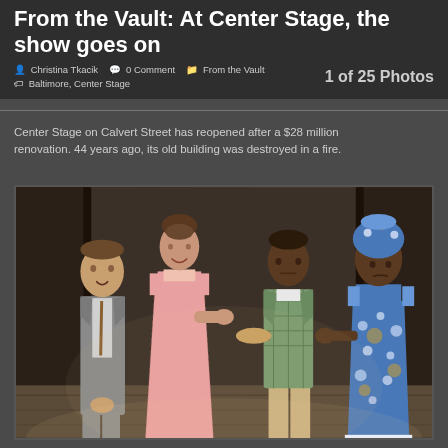From the Vault: At Center Stage, the show goes on
Christina Tkacik  0 Comment  From the Vault  Baltimore, Center Stage  1 of 25 Photos
Center Stage on Calvert Street has reopened after a $28 million renovation. 44 years ago, its old building was destroyed in a fire.
[Figure (photo): Four theater actors on stage: a man in a grey suit and tie, a woman in a pink patterned dress, a man in a plaid green jacket, and a woman in a blue and white African print dress and headwrap, appearing to interact in a scene.]